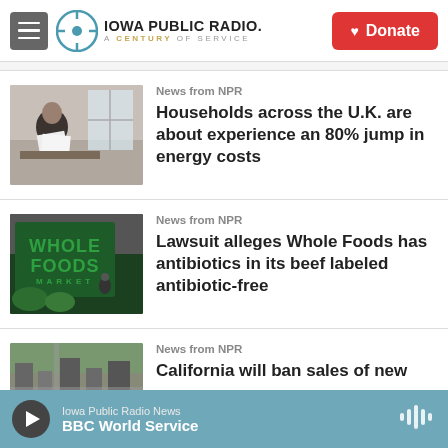Iowa Public Radio – A Century of Service | Donate
News from NPR
Households across the U.K. are about experience an 80% jump in energy costs
News from NPR
Lawsuit alleges Whole Foods has antibiotics in its beef labeled antibiotic-free
News from NPR
California will ban sales of new
Iowa Public Radio News – BBC World Service